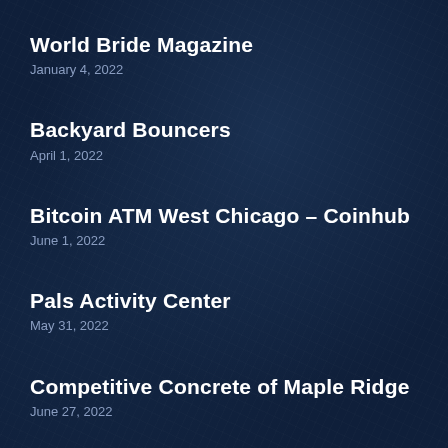World Bride Magazine
January 4, 2022
Backyard Bouncers
April 1, 2022
Bitcoin ATM West Chicago – Coinhub
June 1, 2022
Pals Activity Center
May 31, 2022
Competitive Concrete of Maple Ridge
June 27, 2022